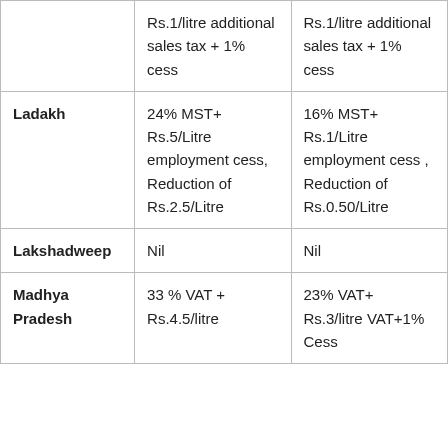|  | Rs.1/litre additional sales tax + 1% cess | Rs.1/litre additional sales tax + 1% cess |
| Ladakh | 24% MST+ Rs.5/Litre employment cess, Reduction of Rs.2.5/Litre | 16% MST+ Rs.1/Litre employment cess , Reduction of Rs.0.50/Litre |
| Lakshadweep | Nil | Nil |
| Madhya Pradesh | 33 % VAT + Rs.4.5/litre | 23% VAT+ Rs.3/litre VAT+1% Cess |